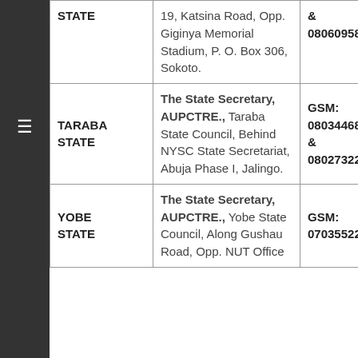| STATE | ADDRESS | CONTACT |
| --- | --- | --- |
| STATE | 19, Katsina Road, Opp. Giginya Memorial Stadium, P. O. Box 306, Sokoto. | & 08060958113 |
| TARABA STATE | The State Secretary, AUPCTRE., Taraba State Council, Behind NYSC State Secretariat, Abuja Phase I, Jalingo. | GSM: 08034468990 & 08027322261 |
| YOBE STATE | The State Secretary, AUPCTRE., Yobe State Council, Along Gushau Road, Opp. NUT Office | GSM: 07035522827 |